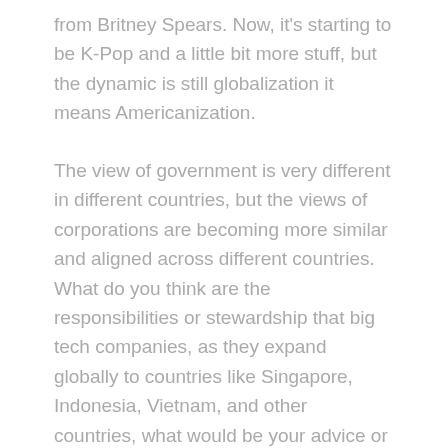from Britney Spears. Now, it's starting to be K-Pop and a little bit more stuff, but the dynamic is still globalization it means Americanization.
The view of government is very different in different countries, but the views of corporations are becoming more similar and aligned across different countries. What do you think are the responsibilities or stewardship that big tech companies, as they expand globally to countries like Singapore, Indonesia, Vietnam, and other countries, what would be your advice or recommendation on their stewardship?
Karen Tay: (35:59)